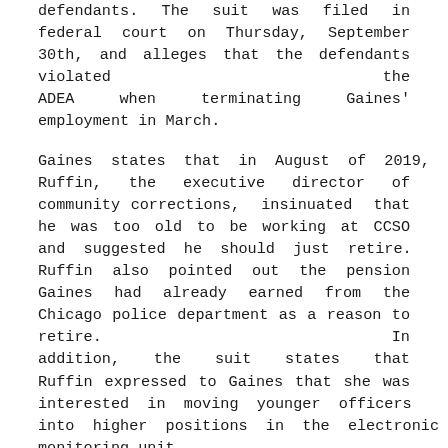defendants. The suit was filed in federal court on Thursday, September 30th, and alleges that the defendants violated the ADEA when terminating Gaines' employment in March.
Gaines states that in August of 2019, Ruffin, the executive director of community corrections, insinuated that he was too old to be working at CCSO and suggested he should just retire. Ruffin also pointed out the pension Gaines had already earned from the Chicago police department as a reason to retire. In addition, the suit states that Ruffin expressed to Gaines that she was interested in moving younger officers into higher positions in the electronic monitoring unit.
Shortly after this interaction, Gaines took medical leave due to a shoulder injury that happened while on the job.